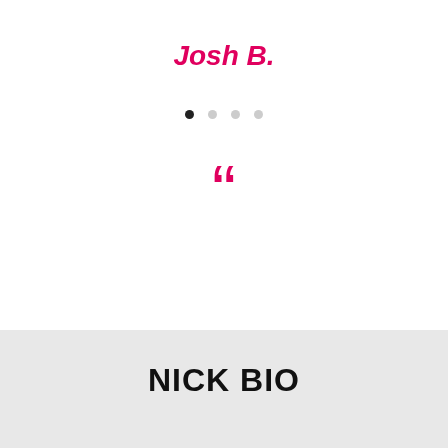Josh B.
[Figure (other): Four pagination dots, first filled black and remaining three light gray]
[Figure (other): Large pink/crimson open double quotation mark symbol]
NICK BIO